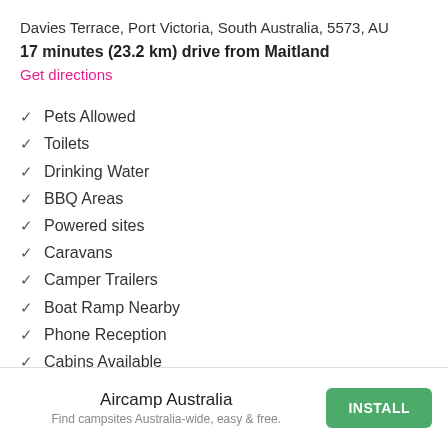Davies Terrace, Port Victoria, South Australia, 5573, AU
17 minutes (23.2 km) drive from Maitland
Get directions
Pets Allowed
Toilets
Drinking Water
BBQ Areas
Powered sites
Caravans
Camper Trailers
Boat Ramp Nearby
Phone Reception
Cabins Available
Laundry
Aircamp Australia
Find campsites Australia-wide, easy & free.